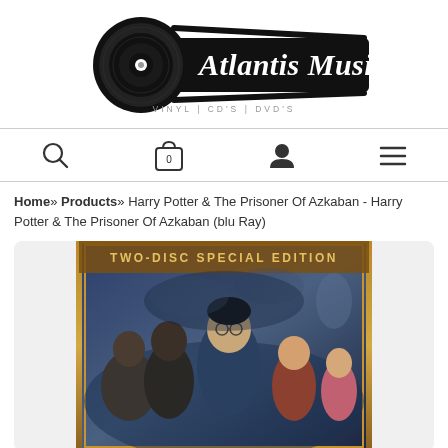[Figure (logo): Atlantis Music logo with vinyl record icon and text 'Atlantis Music' in script font, with tagline 'VINYL | CD'S | DVD'S']
[Figure (infographic): Navigation bar with search icon, shopping bag icon with '0', user/person icon, and hamburger menu icon]
Home» Products» Harry Potter & The Prisoner Of Azkaban - Harry Potter & The Prisoner Of Azkaban (blu Ray)
[Figure (photo): Harry Potter & The Prisoner Of Azkaban Blu-Ray Two-Disc Special Edition cover art showing Harry Potter and other characters]